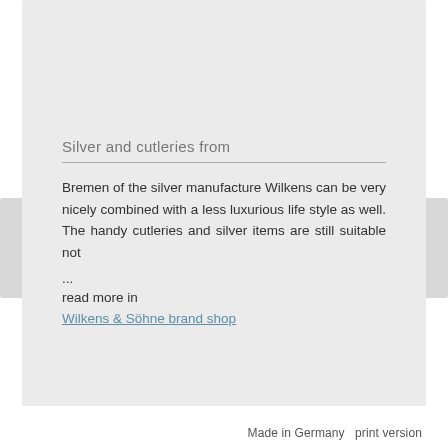Silver and cutleries from
Bremen of the silver manufacture Wilkens can be very nicely combined with a less luxurious life style as well. The handy cutleries and silver items are still suitable not
...
read more in
Wilkens & Söhne brand shop
Made in Germany   print version